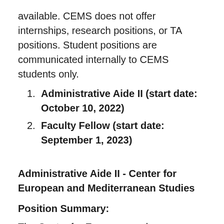available. CEMS does not offer internships, research positions, or TA positions. Student positions are communicated internally to CEMS students only.
Administrative Aide II (start date: October 10, 2022)
Faculty Fellow (start date: September 1, 2023)
Administrative Aide II - Center for European and Mediterranean Studies
Position Summary:
The Center for European and Mediterranean